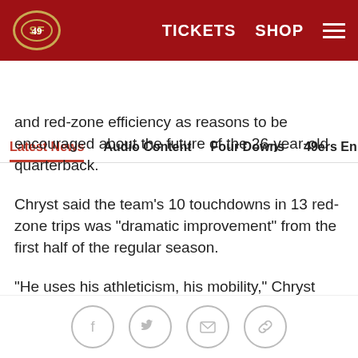49ers logo | TICKETS  SHOP  ☰
Latest News  Audio Content  Four Downs  49ers En Español  Ga
and red-zone efficiency as reasons to be encouraged about the future of the 26-year-old quarterback.
Chryst said the team's 10 touchdowns in 13 red-zone trips was "dramatic improvement" from the first half of the regular season.
"He uses his athleticism, his mobility," Chryst said of Gabbert. "I think that's also where he's probably used the tight ends in a positive way. But yeah, we're not perfect across the board. The two things that affect your scoring, right, are going to be field position, your starting field position and then the third downs which
Social share icons: Facebook, Twitter, Email, Link